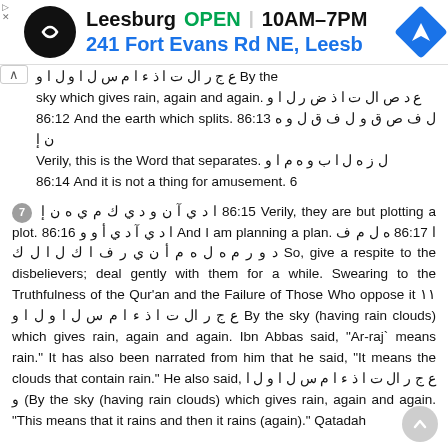[Figure (screenshot): Ad banner: Leesburg OPEN 10AM-7PM, 241 Fort Evans Rd NE, Leesb, with navigation icon]
e to save him. 86:11 ع ج ر ال ت ا ذ ء ا م س ل ا و ل ا و By the sky which gives rain, again and again. ع د ص ال ت ا ذ ض ر ل ا و 86:12 And the earth which splits. 86:13 ل ف ص ق و ل ف ق ل و ه ن إ Verily, this is the Word that separates. ل ز ه ل ا ب و ه م ا و 86:14 And it is not a thing for amusement. 6
7 86:15 ا د ي آ ن و د ي ك م ي ه ن إ Verily, they are but plotting a plot. 86:16 ا د ي آ د ي أ و و And I am planning a plan. ه ل م ف 86:17 ا د و ر م ه ل ه م أ ن ي ر ف ا ك ل ا ل ك So, give a respite to the disbelievers; deal gently with them for a while. Swearing to the Truthfulness of the Qur'an and the Failure of Those Who oppose it ١١ ع ج ر ال ت ا ذ ء ا م س ل ا و ل ا و By the sky (having rain clouds) which gives rain, again and again. Ibn Abbas said, "Ar-raj` means rain." It has also been narrated from him that he said, "It means the clouds that contain rain." He also said, ع ج ر ال ت ا ذ ء ا م س ل ا و ل ا و (By the sky (having rain clouds) which gives rain, again and again. "This means that it rains and then it rains (again)." Qatadah